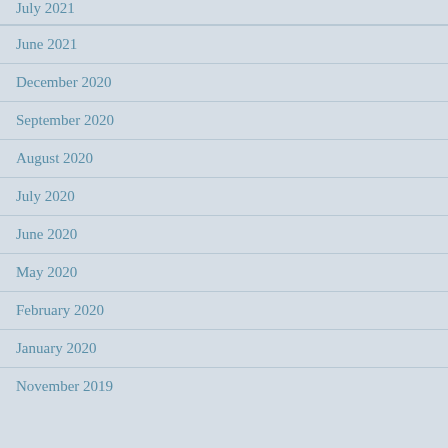July 2021
June 2021
December 2020
September 2020
August 2020
July 2020
June 2020
May 2020
February 2020
January 2020
November 2019